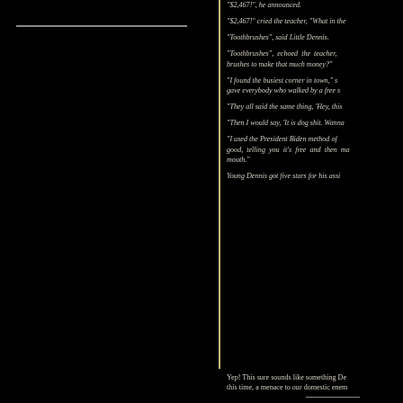"$2,467!", he announced.
"$2,467!" cried the teacher, "What in the
"Toothbrushes", said Little Dennis.
"Toothbrushes", echoed the teacher, brushes to make that much money?"
"I found the busiest corner in town," s gave everybody who walked by a free s
"They all said the same thing, 'Hey, this
"Then I would say, 'It is dog shit. Wanna
"I used the President Biden method of good, telling you it's free and then ma mouth."
Young Dennis got five stars for his assi
Yep! This sure sounds like something De this time, a menace to our domestic enem